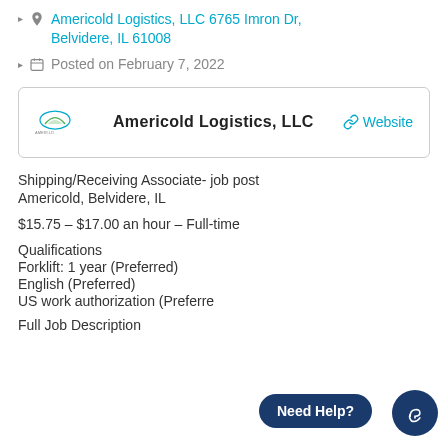Americold Logistics, LLC 6765 Imron Dr, Belvidere, IL 61008
Posted on February 7, 2022
[Figure (logo): Americold Logistics, LLC company logo]
Americold Logistics, LLC  Website
Shipping/Receiving Associate- job post
Americold, Belvidere, IL
$15.75 – $17.00 an hour – Full-time
Qualifications
Forklift: 1 year (Preferred)
English (Preferred)
US work authorization (Preferred)
Full Job Description